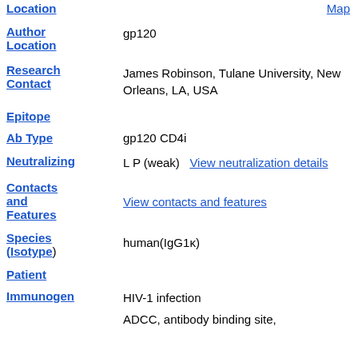Location
Map
Author Location
gp120
Research Contact
James Robinson, Tulane University, New Orleans, LA, USA
Epitope
Ab Type
gp120 CD4i
Neutralizing
L P (weak)  View neutralization details
Contacts and Features
View contacts and features
Species (Isotype)
human(IgG1κ)
Patient
Immunogen
HIV-1 infection
ADCC, antibody binding site,